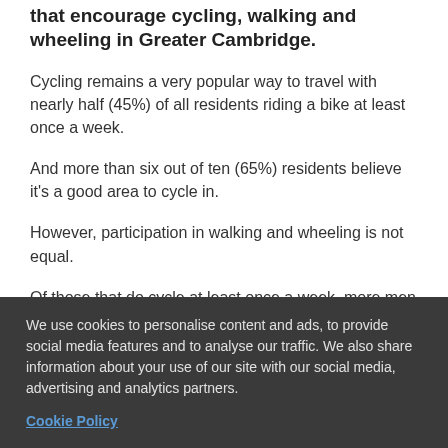that encourage cycling, walking and wheeling in Greater Cambridge.
Cycling remains a very popular way to travel with nearly half (45%) of all residents riding a bike at least once a week.
And more than six out of ten (65%) residents believe it's a good area to cycle in.
However, participation in walking and wheeling is not equal.
Of those that do cycle at least once a week, more men (50%) are cycling than women (40%) and more non-
We use cookies to personalise content and ads, to provide social media features and to analyse our traffic. We also share information about your use of our site with our social media, advertising and analytics partners.
Cookie Policy